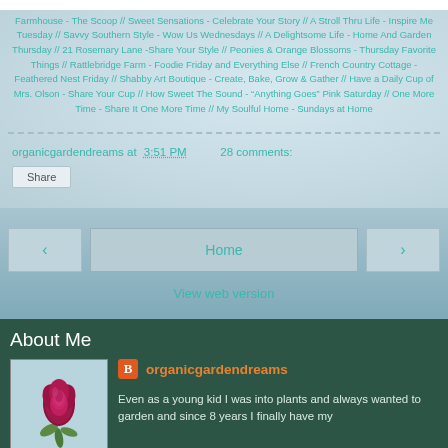Farmhouse - The Scoop // Sweet Sensations - Celebrate Your Story // A Stroll Thru Life - Inspire Me Tuesday // Savvy Southern Style - Wow Us Wednesdays // A Delightsome Life - Home And Garden Thursday // 21 Rosemary Lane -Share Your Style // Peonies & Orange Blossoms - Thursday Favorite Things // Rattlebridge Farm - Foodie Friday and Everything Else // French Country Cottage - Feathered Nest Friday // Shabby Art Boutique - Create, Bake, Grow & Gather // Have a Daily Cup of Mrs. Olson - Share Your Cup // How Sweet The Sound - "Anything Goes" Pink Saturday // One More Time - Share It One More Time // My Soulful Home - Sundays at Home
organicgardendreams at 3:51 PM     28 comments:
Share
Home
View web version
About Me
[Figure (photo): Photo of a deep red/magenta rose or carnation flower with green leaves against a light blue background]
organicgardendreams
Even as a young kid I was into plants and always wanted to garden and since 8 years I finally have my